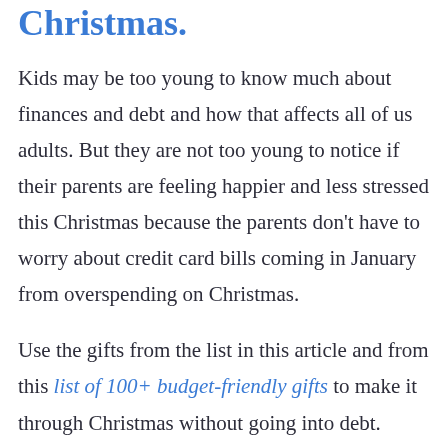Christmas.
Kids may be too young to know much about finances and debt and how that affects all of us adults. But they are not too young to notice if their parents are feeling happier and less stressed this Christmas because the parents don't have to worry about credit card bills coming in January from overspending on Christmas.
Use the gifts from the list in this article and from this list of 100+ budget-friendly gifts to make it through Christmas without going into debt.